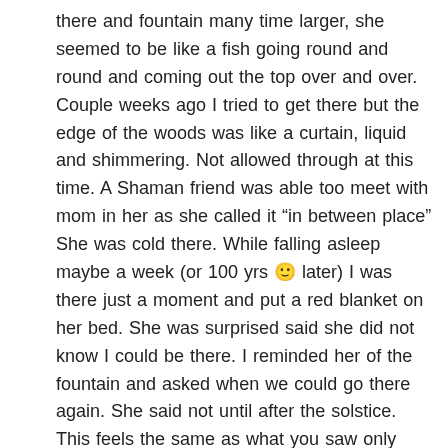there and fountain many time larger, she seemed to be like a fish going round and round and coming out the top over and over. Couple weeks ago I tried to get there but the edge of the woods was like a curtain, liquid and shimmering. Not allowed through at this time. A Shaman friend was able too meet with mom in her as she called it “in between place” She was cold there. While falling asleep maybe a week (or 100 yrs 🙂 later) I was there just a moment and put a red blanket on her bed. She was surprised said she did not know I could be there. I reminded her of the fountain and asked when we could go there again. She said not until after the solstice. This feels the same as what you saw only personal, yours universal.